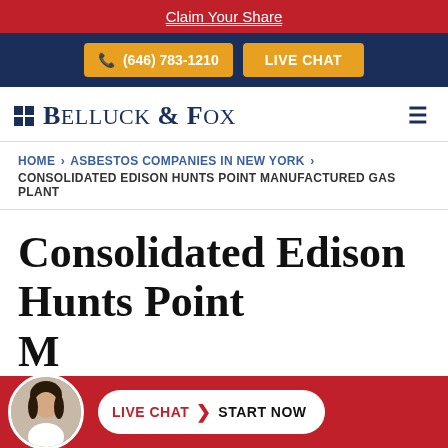Claim Your Share
(646) 783-1210  LIVE CHAT
[Figure (logo): Belluck & Fox law firm logo with blue grid squares and serif text]
HOME > ASBESTOS COMPANIES IN NEW YORK > CONSOLIDATED EDISON HUNTS POINT MANUFACTURED GAS PLANT
Consolidated Edison Hunts Point Manufactured G...
LIVE CHAT > START NOW